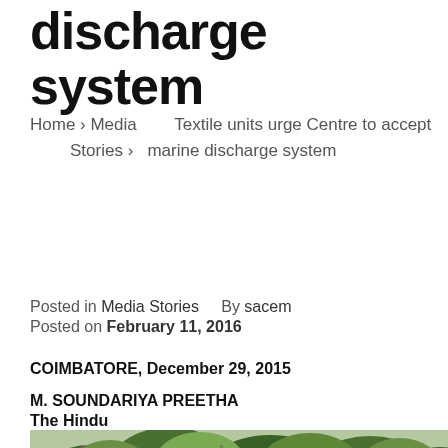discharge system
Home › Media Stories › Textile units urge Centre to accept marine discharge system
Posted in Media Stories    By sacem
Posted on February 11, 2016
COIMBATORE, December 29, 2015
M. SOUNDARIYA PREETHA
The Hindu
[Figure (photo): Outdoor photograph showing a building with a metal roof surrounded by dense green vegetation and trees]